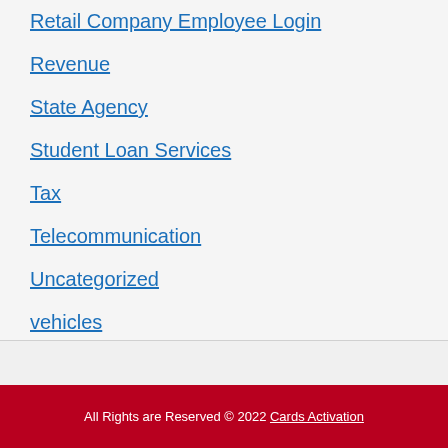Retail Company Employee Login
Revenue
State Agency
Student Loan Services
Tax
Telecommunication
Uncategorized
vehicles
All Rights are Reserved © 2022 Cards Activation